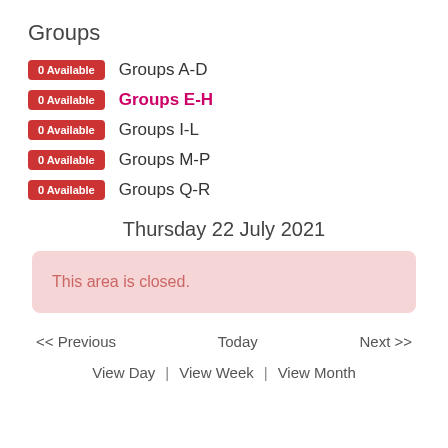Groups
0 Available  Groups A-D
0 Available  Groups E-H
0 Available  Groups I-L
0 Available  Groups M-P
0 Available  Groups Q-R
Thursday 22 July 2021
This area is closed.
<< Previous   Today   Next >>
View Day  |  View Week  |  View Month